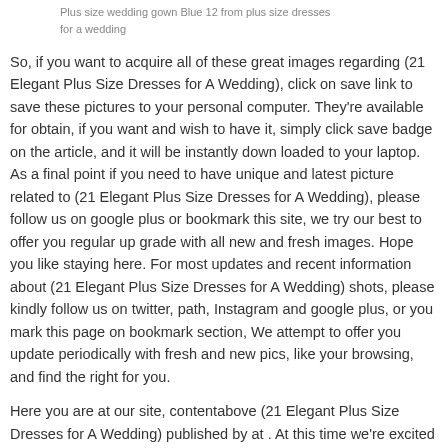Plus size wedding gown Blue 12 from plus size dresses for a wedding
So, if you want to acquire all of these great images regarding (21 Elegant Plus Size Dresses for A Wedding), click on save link to save these pictures to your personal computer. They're available for obtain, if you want and wish to have it, simply click save badge on the article, and it will be instantly down loaded to your laptop. As a final point if you need to have unique and latest picture related to (21 Elegant Plus Size Dresses for A Wedding), please follow us on google plus or bookmark this site, we try our best to offer you regular up grade with all new and fresh images. Hope you like staying here. For most updates and recent information about (21 Elegant Plus Size Dresses for A Wedding) shots, please kindly follow us on twitter, path, Instagram and google plus, or you mark this page on bookmark section, We attempt to offer you update periodically with fresh and new pics, like your browsing, and find the right for you.
Here you are at our site, contentabove (21 Elegant Plus Size Dresses for A Wedding) published by at . At this time we're excited to announce